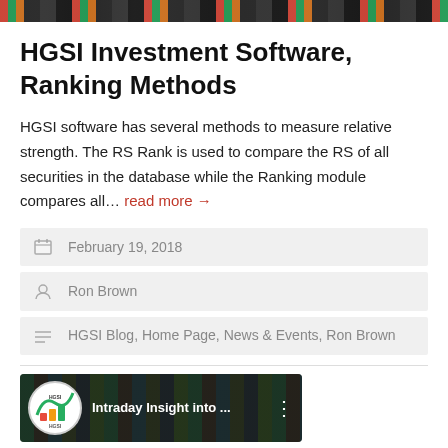[Figure (screenshot): Top banner screenshot of HGSI investment software interface with colored bars]
HGSI Investment Software, Ranking Methods
HGSI software has several methods to measure relative strength. The RS Rank is used to compare the RS of all securities in the database while the Ranking module compares all… read more →
February 19, 2018
Ron Brown
HGSI Blog, Home Page, News & Events, Ron Brown
[Figure (screenshot): Video thumbnail for Intraday Insight into ... with HGSI logo]